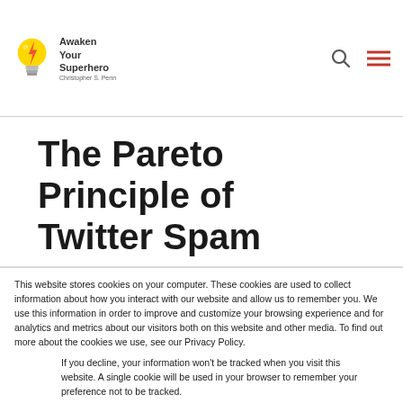Awaken Your Superhero — Christopher S. Penn
The Pareto Principle of Twitter Spam
This website stores cookies on your computer. These cookies are used to collect information about how you interact with our website and allow us to remember you. We use this information in order to improve and customize your browsing experience and for analytics and metrics about our visitors both on this website and other media. To find out more about the cookies we use, see our Privacy Policy.
If you decline, your information won't be tracked when you visit this website. A single cookie will be used in your browser to remember your preference not to be tracked.
Accept   Decline